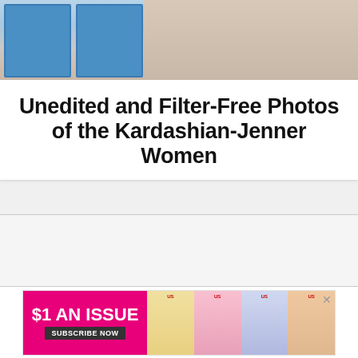[Figure (photo): Top portion of a photo showing lockers in the background and a person's torso/body, partially cropped]
Unedited and Filter-Free Photos of the Kardashian-Jenner Women
[Figure (photo): Advertisement banner: $1 AN ISSUE, SUBSCRIBE NOW, showing Us Weekly magazine covers]
$1 AN ISSUE SUBSCRIBE NOW